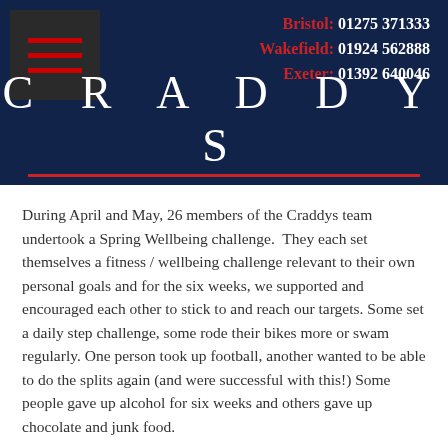[Figure (logo): Craddys company header with dark navy background, hamburger menu icon with red lines on left, contact phone numbers for Bristol, Wakefield, and Exeter on right, and CRADDYS brand name in large white serif letters with red underline]
During April and May, 26 members of the Craddys team undertook a Spring Wellbeing challenge.  They each set themselves a fitness / wellbeing challenge relevant to their own personal goals and for the six weeks, we supported and encouraged each other to stick to and reach our targets. Some set a daily step challenge, some rode their bikes more or swam regularly. One person took up football, another wanted to be able to do the splits again (and were successful with this!) Some people gave up alcohol for six weeks and others gave up chocolate and junk food.